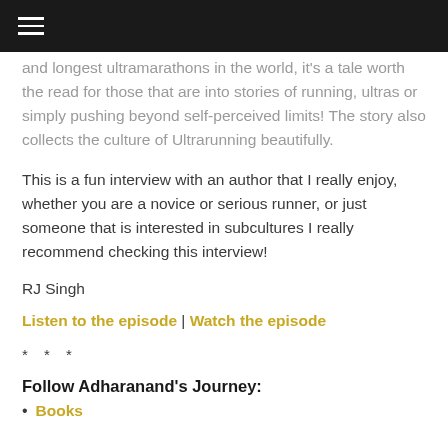≡ (navigation menu icon)
and longest ultramarathons in the world, it's a tale worth the read for those that are into stories of running, ultras or simply pushing beyond self-perceived limits! The story also collects the culture of Ultrarunning beautifully.
This is a fun interview with an author that I really enjoy, whether you are a novice or serious runner, or just someone that is interested in subcultures I really recommend checking this interview!
RJ Singh
Listen to the episode | Watch the episode
* * *
Follow Adharanand's Journey:
Books